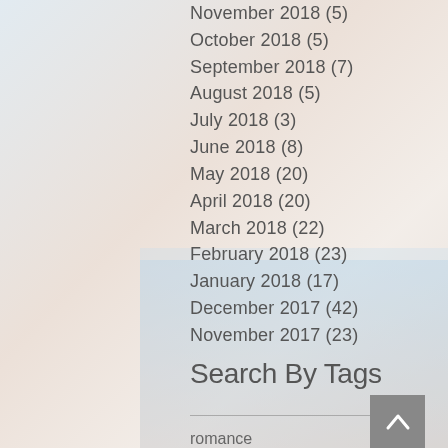November 2018 (5)
October 2018 (5)
September 2018 (7)
August 2018 (5)
July 2018 (3)
June 2018 (8)
May 2018 (20)
April 2018 (20)
March 2018 (22)
February 2018 (23)
January 2018 (17)
December 2017 (42)
November 2017 (23)
Search By Tags
romance